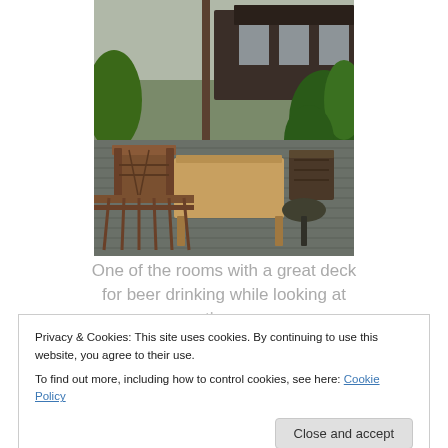[Figure (photo): Outdoor wooden deck with chairs, a rectangular wooden table, and a round side table. A dark wooden building with large windows is in the background, surrounded by lush green vegetation. The deck has a slate or stone tile surface.]
One of the rooms with a great deck for beer drinking while looking at the...
Privacy & Cookies: This site uses cookies. By continuing to use this website, you agree to their use.
To find out more, including how to control cookies, see here: Cookie Policy